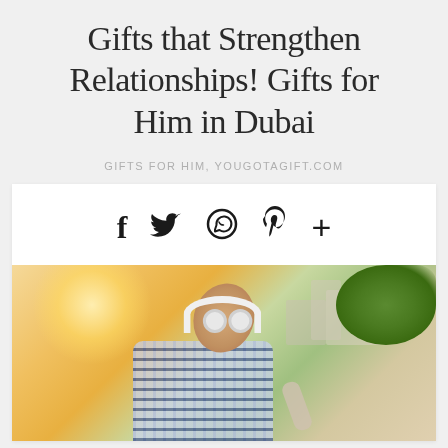Gifts that Strengthen Relationships! Gifts for Him in Dubai
GIFTS FOR HIM, YOUGOTAGIFT.COM
[Figure (infographic): Social media sharing icons: Facebook (f), Twitter (bird), WhatsApp (speech bubble with phone), Pinterest (P), and a plus (+) sign, arranged horizontally in a white card area]
[Figure (photo): Young man wearing headphones and holding a smartphone, looking up with eyes closed, outdoors with sunlight and green foliage in background, wearing a plaid/checkered shirt]